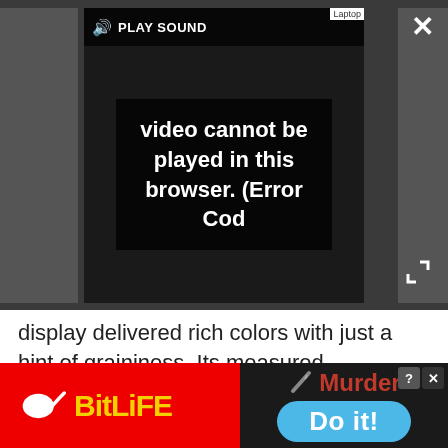[Figure (screenshot): Video player showing error message: 'Video cannot be played in this browser. (Error Cod' with PLAY SOUND button and close/expand controls on dark background]
display delivered rich colors with just a hint of graininess. Its measured brightness of 200 lux was comfortably above the thin-and-light average (169 lux), as well as other entertainment-focused notebooks as the HP Pavilion dm4 Beats Edition (177 lux).
When we watched the 1080p YouTube trailer of "The Hunger Games," we saw rich green foliage along with vibrant magentas and brilliant reds. Katniss Everdeen's blue eyes consistently popped against the
[Figure (screenshot): BitLife advertisement banner with red background, yellow BitLife logo on left, and Murder/Do it! call to action on right with dark background]